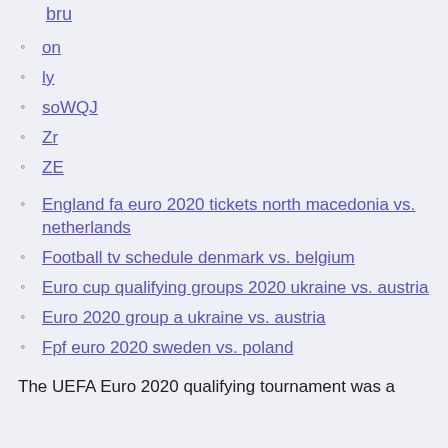bru
on
ly
soWQJ
Zr
ZE
England fa euro 2020 tickets north macedonia vs. netherlands
Football tv schedule denmark vs. belgium
Euro cup qualifying groups 2020 ukraine vs. austria
Euro 2020 group a ukraine vs. austria
Fpf euro 2020 sweden vs. poland
The UEFA Euro 2020 qualifying tournament was a